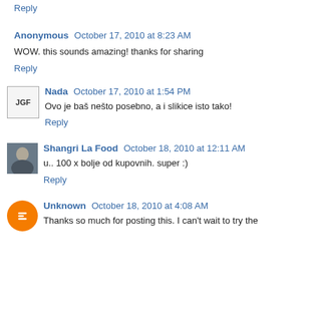Reply
Anonymous  October 17, 2010 at 8:23 AM
WOW. this sounds amazing! thanks for sharing
Reply
Nada  October 17, 2010 at 1:54 PM
Ovo je baš nešto posebno, a i slikice isto tako!
Reply
Shangri La Food  October 18, 2010 at 12:11 AM
u.. 100 x bolje od kupovnih. super :)
Reply
Unknown  October 18, 2010 at 4:08 AM
Thanks so much for posting this. I can't wait to try the